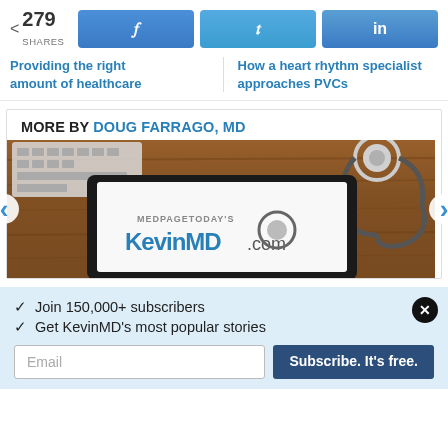< 279 SHARES
Providing the right amount of healthcare
How a heart rhythm specialist approaches PVCs
MORE BY DOUG FARRAGO, MD
[Figure (photo): Tablet on wooden desk showing KevinMD logo with stethoscope and keyboard in background, carousel navigation arrows on left and right]
✓  Join 150,000+ subscribers
✓  Get KevinMD's most popular stories
Email
Subscribe. It's free.